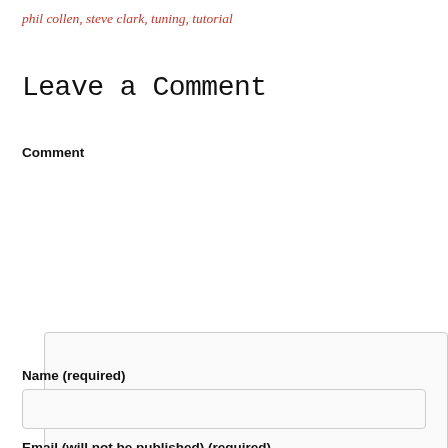phil collen, steve clark, tuning, tutorial
Leave a Comment
Comment
Name (required)
Email (will not be published) (required)